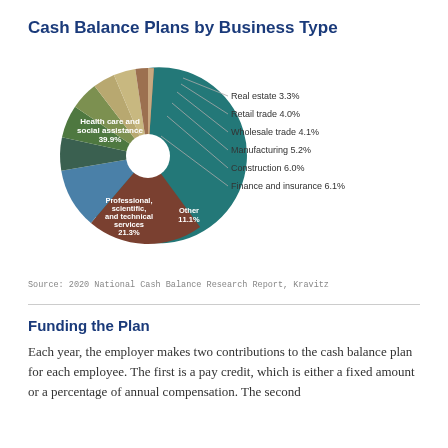Cash Balance Plans by Business Type
[Figure (pie-chart): Cash Balance Plans by Business Type]
Source: 2020 National Cash Balance Research Report, Kravitz
Funding the Plan
Each year, the employer makes two contributions to the cash balance plan for each employee. The first is a pay credit, which is either a fixed amount or a percentage of annual compensation. The second